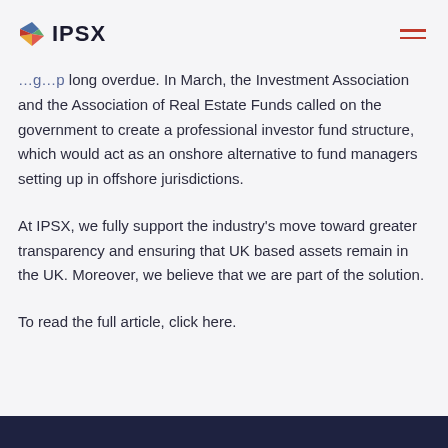IPSX
long overdue. In March, the Investment Association and the Association of Real Estate Funds called on the government to create a professional investor fund structure, which would act as an onshore alternative to fund managers setting up in offshore jurisdictions.
At IPSX, we fully support the industry's move toward greater transparency and ensuring that UK based assets remain in the UK. Moreover, we believe that we are part of the solution.
To read the full article, click here.